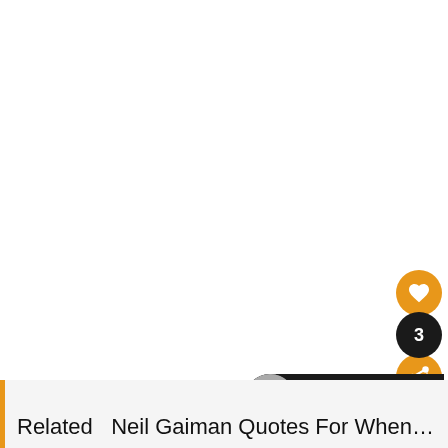[Figure (screenshot): White blank content area (top portion of a webpage)]
[Figure (infographic): Orange heart favorite button (circle), black count badge showing '3', and orange share button (circle with share icon) — a vertical social action button group on the right side]
[Figure (infographic): Black pill-shaped 'WHAT'S NEXT' bar with a thumbnail image and text 'Quotes About Helping...' in orange/white]
Related   Neil Gaiman Quotes For When Life